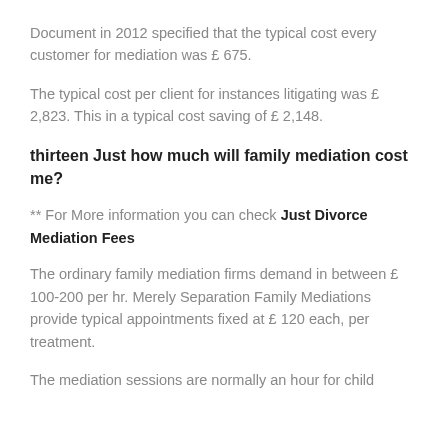Document in 2012 specified that the typical cost every customer for mediation was £ 675.
The typical cost per client for instances litigating was £ 2,823. This in a typical cost saving of £ 2,148.
thirteen Just how much will family mediation cost me?
** For More information you can check Just Divorce Mediation Fees
The ordinary family mediation firms demand in between £ 100-200 per hr. Merely Separation Family Mediations provide typical appointments fixed at £ 120 each, per treatment.
The mediation sessions are normally an hour for child